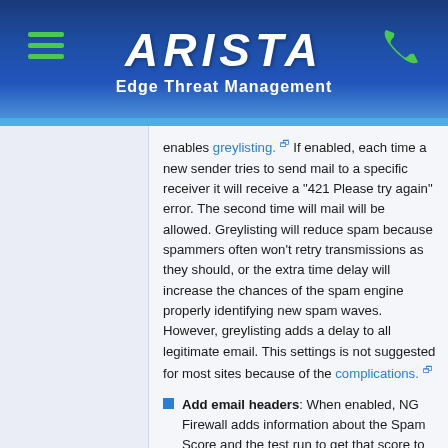ARISTA Edge Threat Management
enables greylisting. If enabled, each time a new sender tries to send mail to a specific receiver it will receive a "421 Please try again" error. The second time will mail will be allowed. Greylisting will reduce spam because spammers often won't retry transmissions as they should, or the extra time delay will increase the chances of the spam engine properly identifying new spam waves. However, greylisting adds a delay to all legitimate email. This settings is not suggested for most sites because of the complications.
Add email headers: When enabled, NG Firewall adds information about the Spam Score and the test run to get that score to the headers of the message.